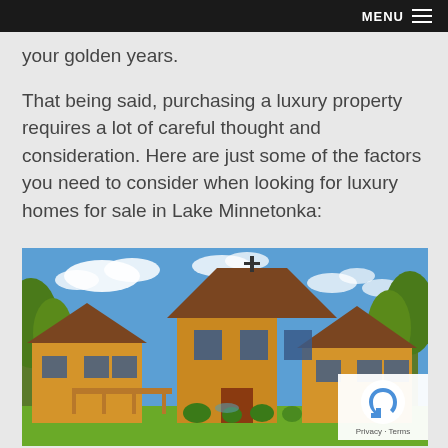MENU
your golden years.
That being said, purchasing a luxury property requires a lot of careful thought and consideration. Here are just some of the factors you need to consider when looking for luxury homes for sale in Lake Minnetonka:
[Figure (photo): Exterior photo of a large two-story luxury Mediterranean-style home with a round tower, brown tile roof, yellow stucco walls, a cross on the tower peak, surrounded by trees and manicured lawn under a blue sky with white clouds.]